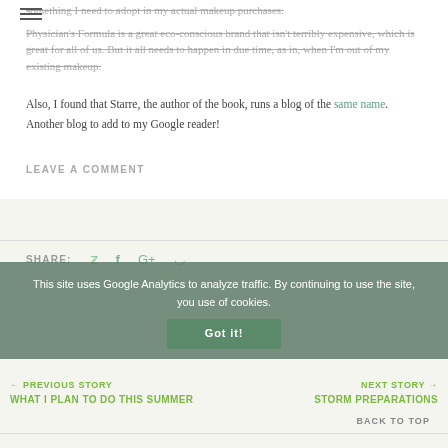something I need to adopt in my actual makeup purchases. Physician's Formula is a great eco-conscious brand that isn't terribly expensive, which is great for all of us. But it all needs to happen in due time, as in, when I'm out of my existing makeup.
Also, I found that Starre, the author of the book, runs a blog of the same name. Another blog to add to my Google reader!
LEAVE A COMMENT
SHARE:
This site uses Google Analytics to analyze traffic. By continuing to use the site, you use of cookies.
← PREVIOUS STORY
WHAT I PLAN TO DO THIS SUMMER
NEXT STORY →
STORM PREPARATIONS
BACK TO TOP